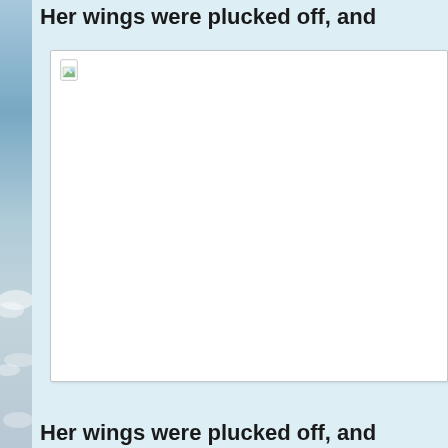Her wings were plucked off, and
[Figure (illustration): A white image placeholder box with a broken image icon in the top-left corner, set against a light blue background. The left edge of the page shows a sky/clouds photograph strip.]
Her wings were plucked off, and